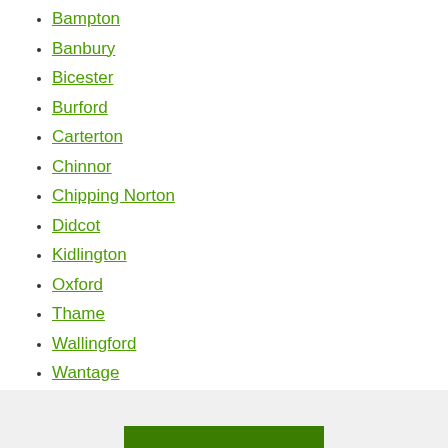Bampton
Banbury
Bicester
Burford
Carterton
Chinnor
Chipping Norton
Didcot
Kidlington
Oxford
Thame
Wallingford
Wantage
Witney
Woodstock